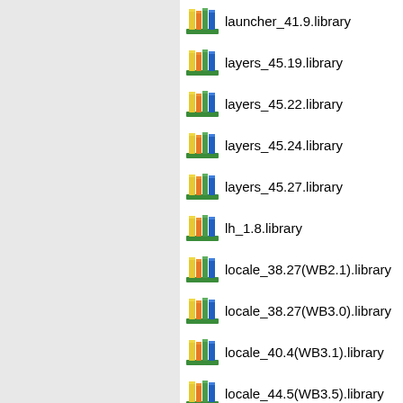launcher_41.9.library
layers_45.19.library
layers_45.22.library
layers_45.24.library
layers_45.27.library
lh_1.8.library
locale_38.27(WB2.1).library
locale_38.27(WB3.0).library
locale_40.4(WB3.1).library
locale_44.5(WB3.5).library